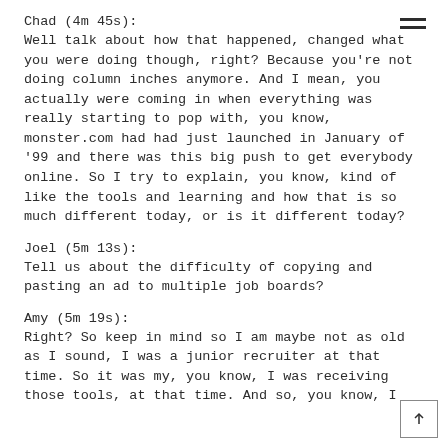Chad (4m 45s):
Well talk about how that happened, changed what you were doing though, right? Because you're not doing column inches anymore. And I mean, you actually were coming in when everything was really starting to pop with, you know, monster.com had had just launched in January of '99 and there was this big push to get everybody online. So I try to explain, you know, kind of like the tools and learning and how that is so much different today, or is it different today?
Joel (5m 13s):
Tell us about the difficulty of copying and pasting an ad to multiple job boards?
Amy (5m 19s):
Right? So keep in mind so I am maybe not as old as I sound, I was a junior recruiter at that time. So it was my, you know, I was receiving those tools, at that time. And so, you know, I